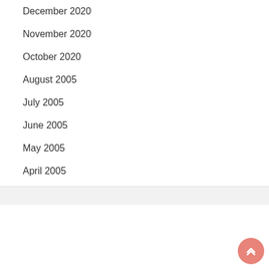December 2020
November 2020
October 2020
August 2005
July 2005
June 2005
May 2005
April 2005
[Figure (illustration): Advertisement banner for 'Work From Home' featuring a smiling red-haired man in a light blue shirt on the left, and green background with text 'BECOME YOUR BEST SELF' and 'WORK FROM HOME' on the right, with a white curved arc design element.]